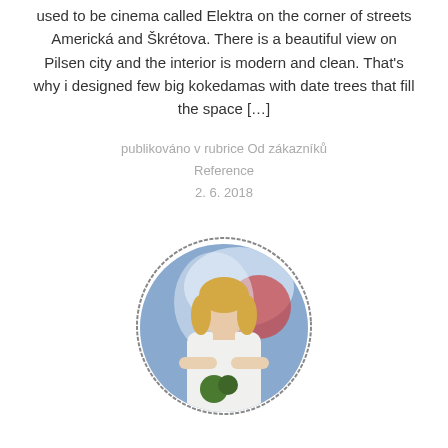used to be cinema called Elektra on the corner of streets Americká and Škrétova. There is a beautiful view on Pilsen city and the interior is modern and clean. That's why i designed few big kokedamas with date trees that fill the space […]
publikováno v rubrice Od zákazníků
Reference
2. 6. 2018
[Figure (photo): Circular portrait photo of a blonde woman in a white outfit holding a small plant, with a colorful mural in the background. The image is framed in a hand-drawn style circle border.]